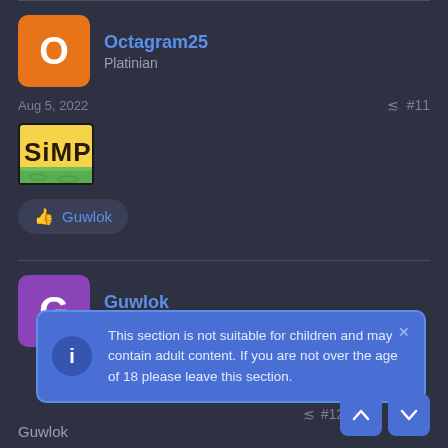Octagram25
Platinian
Aug 5, 2022
#11
[Figure (illustration): SiMP logo image - cartoon style text logo]
Guwlok
Guwlok
Platinian
This section is not suitable for children and may contain adult content. If you are not over the age of 18 please leave this section.
#12
Guwlok